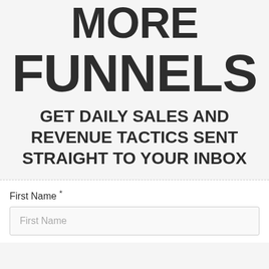MORE
FUNNELS
GET DAILY SALES AND REVENUE TACTICS SENT STRAIGHT TO YOUR INBOX
First Name *
First Name